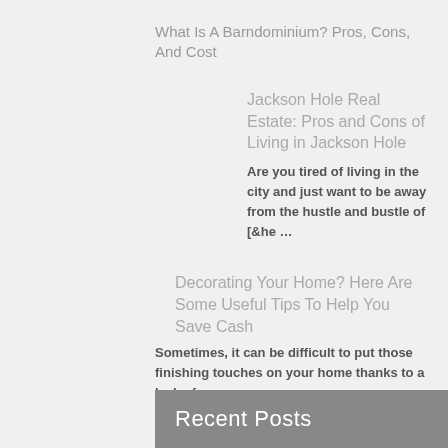What Is A Barndominium? Pros, Cons, And Cost
Jackson Hole Real Estate: Pros and Cons of Living in Jackson Hole
Are you tired of living in the city and just want to be away from the hustle and bustle of [&he …
Decorating Your Home? Here Are Some Useful Tips To Help You Save Cash
Sometimes, it can be difficult to put those finishing touches on your home thanks to a lack of …
Recent Posts